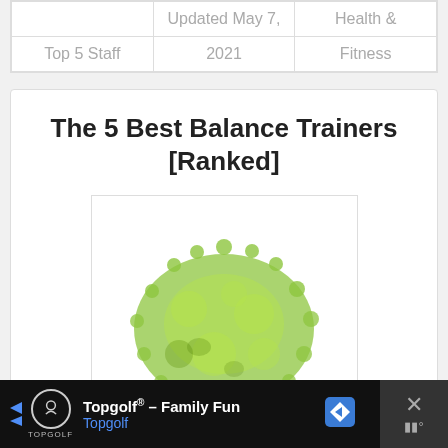|  | Updated May 7, | Health & |
| Top 5 Staff | 2021 | Fitness |
The 5 Best Balance Trainers [Ranked]
[Figure (photo): Green spiky balance trainer ball illustration]
Topgolf® – Family Fun Topgolf [Advertisement]